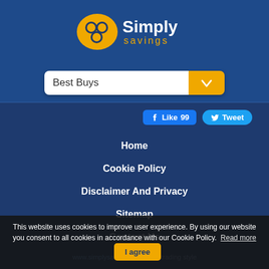[Figure (logo): Simply Savings logo with yellow oval icon and white/yellow text]
Best Buys
[Figure (infographic): Facebook Like 99 button and Twitter Tweet button]
Home
Cookie Policy
Disclaimer And Privacy
Sitemap
Contact Us
www.simplysavings.co.uk is a trading style
This website uses cookies to improve user experience. By using our website you consent to all cookies in accordance with our Cookie Policy. Read more
I agree